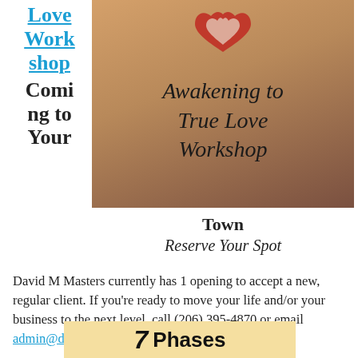Love Workshop Coming to Your
[Figure (photo): Photo of two people holding hands, wearing a shirt that reads 'Awakening to True Love Workshop' with heart decorations]
Town
Reserve Your Spot
David M Masters currently has 1 opening to accept a new, regular client. If you're ready to move your life and/or your business to the next level, call (206) 395-4870 or email admin@davidmmasters.com
7 Phases